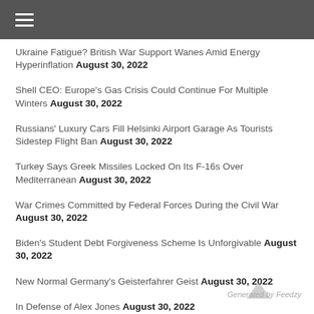Navigation menu
Ukraine Fatigue? British War Support Wanes Amid Energy Hyperinflation August 30, 2022
Shell CEO: Europe's Gas Crisis Could Continue For Multiple Winters August 30, 2022
Russians' Luxury Cars Fill Helsinki Airport Garage As Tourists Sidestep Flight Ban August 30, 2022
Turkey Says Greek Missiles Locked On Its F-16s Over Mediterranean August 30, 2022
War Crimes Committed by Federal Forces During the Civil War August 30, 2022
Biden's Student Debt Forgiveness Scheme Is Unforgivable August 30, 2022
New Normal Germany's Geisterfahrer Geist August 30, 2022
In Defense of Alex Jones August 30, 2022
We're Facing the Enslavement of Humanity: Surveillance Reveals Which Side Intelligence Agencies Are on August 30
Generated by Feedzy